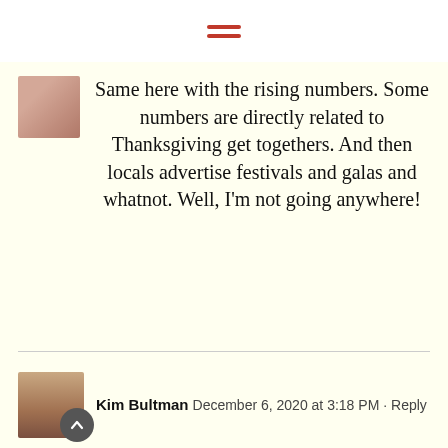hamburger menu icon
Same here with the rising numbers. Some numbers are directly related to Thanksgiving get togethers. And then locals advertise festivals and galas and whatnot. Well, I'm not going anywhere!
Kim Bultman  December 6, 2020 at 3:18 PM · Reply
Chef Mimi, your Christmas Spirit (and spirits) are so